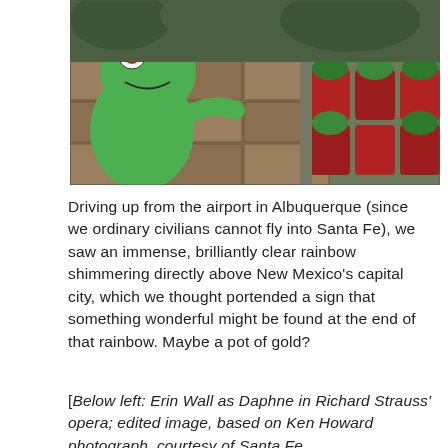[Figure (photo): A green frog puppet/statue with red eyes peering over stacked brown stone blocks, with red theater seats and green plant decorations visible on the right side.]
Driving up from the airport in Albuquerque (since we ordinary civilians cannot fly into Santa Fe), we saw an immense, brilliantly clear rainbow shimmering directly above New Mexico's capital city, which we thought portended a sign that something wonderful might be found at the end of that rainbow. Maybe a pot of gold?
[Below left: Erin Wall as Daphne in Richard Strauss' opera; edited image, based on Ken Howard photograph, courtesy of Santa Fe